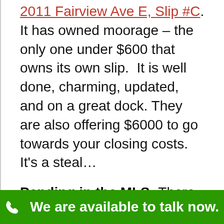2011 Fairview Ave E, Slip #C. It has owned moorage – the only one under $600 that owns its own slip.  It is well done, charming, updated, and on a great dock. They are also offering $6000 to go towards your closing costs. It's a steal…
Pending in the MLS: There are 5 pending Seattle floating homes per the NWMLS.  These Seattle houseboats range in price from $345,000 to $1,300,000.
We are available to talk now.